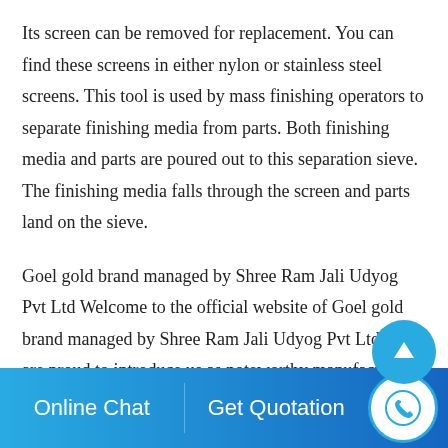Its screen can be removed for replacement. You can find these screens in either nylon or stainless steel screens. This tool is used by mass finishing operators to separate finishing media from parts. Both finishing media and parts are poured out to this separation sieve. The finishing media falls through the screen and parts land on the sieve.
Goel gold brand managed by Shree Ram Jali Udyog Pvt Ltd Welcome to the official website of Goel gold brand managed by Shree Ram Jali Udyog Pvt Ltd. We are proud to introduce us as noteworthy manufacturer, supplier and exporter of wire netting products variety. Our comprehensive array is available in several specifications in order to meet Home Read More
Online Chat   Get Quotation